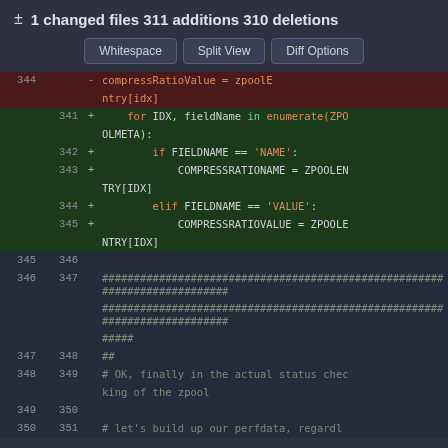± 1 changed files 311 additions 310 deletions
[Figure (screenshot): Git diff view showing code changes in a Python file. Buttons: Whitespace, Split View, Diff Options. Deleted line 344: compressRatioValue = zpoolEntry[idx]. Added lines 341-345: for IDX, fieldName in enumerate(ZPOOL META): if FIELDNAME == 'NAME': COMPRESSRATIONAME = ZPOOLENTRY[IDX] elif FIELDNAME == 'VALUE': COMPRESSRATIOVALUE = ZPOOLENTRYIDX]. Context lines 345-351 showing blank lines, comment hashes, ## comment, # OK finally in the actual status checking of the zpool, blank line, # let's build up our perfdata, regardl]